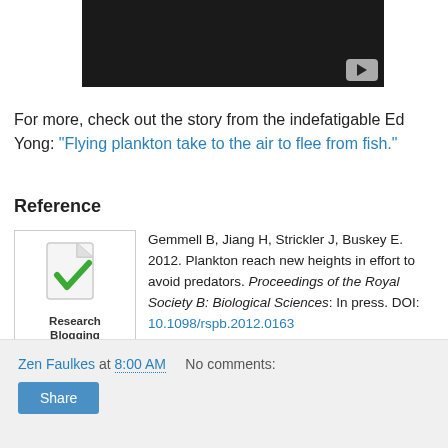[Figure (screenshot): Embedded video player (dark background) with YouTube play button in bottom right corner]
For more, check out the story from the indefatigable Ed Yong: "Flying plankton take to the air to flee from fish."
Reference
Gemmell B, Jiang H, Strickler J, Buskey E. 2012. Plankton reach new heights in effort to avoid predators. Proceedings of the Royal Society B: Biological Sciences: In press. DOI: 10.1098/rspb.2012.0163
Zen Faulkes at 8:00 AM   No comments: